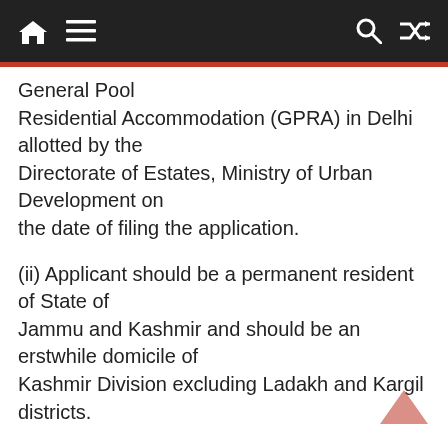General Pool Residential Accommodation (GPRA) in Delhi allotted by the Directorate of Estates, Ministry of Urban Development on the date of filing the application.
(ii) Applicant should be a permanent resident of State of Jammu and Kashmir and should be an erstwhile domicile of Kashmir Division excluding Ladakh and Kargil districts.
(iii) Applicant was an employee . 9f the Central Government and was posted in Srinagar, J&K at the relevant